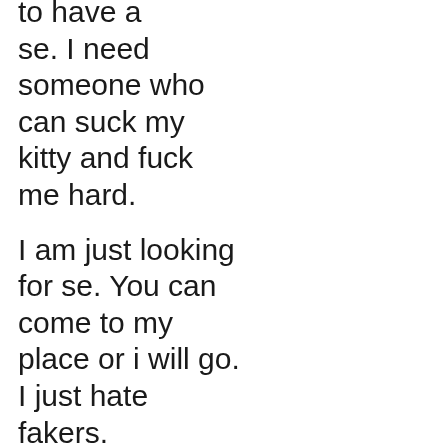to have a se. I need someone who can suck my kitty and fuck me hard.
I am just looking for se. You can come to my place or i will go. I just hate fakers.
Come and have a great time, I am deep throat and I love to play and